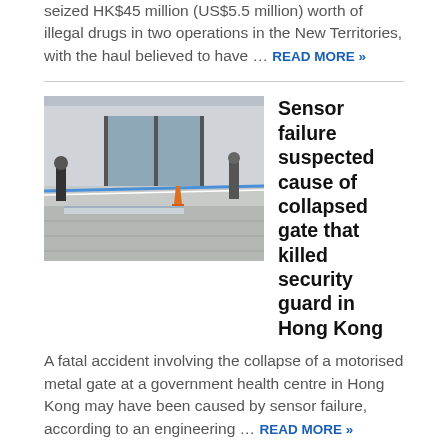seized HK$45 million (US$5.5 million) worth of illegal drugs in two operations in the New Territories, with the haul believed to have … READ MORE »
[Figure (photo): Scene outside a government building with police tape strung across the entrance. A large motorised gate lies collapsed on the gray paved ground. Police officers and bystanders are visible. An orange traffic cone is placed near the area.]
Sensor failure suspected cause of collapsed gate that killed security guard in Hong Kong
A fatal accident involving the collapse of a motorised metal gate at a government health centre in Hong Kong may have been caused by sensor failure, according to an engineering … READ MORE »
[Figure (photo): Crowd scene with adults and a child, with the child appearing to receive or display a necklace or chain. People are densely packed together.]
Good dialogue held on reopening border between Hong Kong